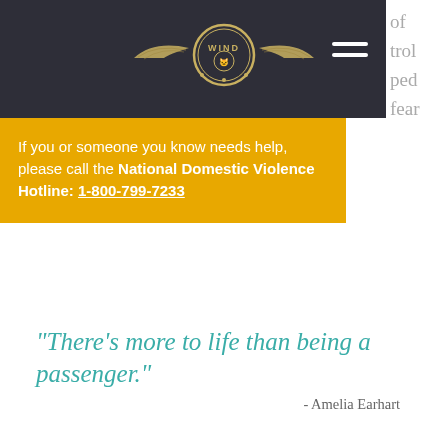[Figure (logo): WIND logo with wings on dark header bar]
of trol ped fear red
If you or someone you know needs help, please call the National Domestic Violence Hotline: 1-800-799-7233
“There’s more to life than being a passenger.” - Amelia Earhart
[Figure (photo): Two women wearing aviation goggles in front of a small plane on a tarmac, sepia-toned vintage style photograph]